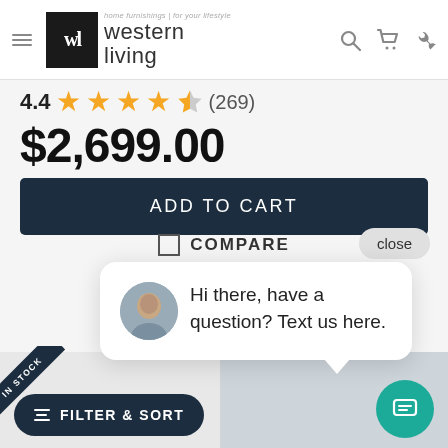[Figure (screenshot): Western Living website header with hamburger menu, logo (wl | western living), and icons for search, cart, and phone]
4.4 (269)
$2,699.00
ADD TO CART
COMPARE
close
IN STOCK
Hi there, have a question? Text us here.
FILTER & SORT